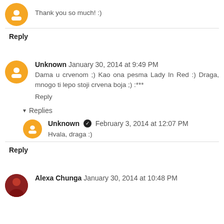Thank you so much! :)
Reply
Unknown  January 30, 2014 at 9:49 PM
Dama u crvenom ;) Kao ona pesma Lady In Red :) Draga, mnogo ti lepo stoji crvena boja ;) :***
Reply
Replies
Unknown  February 3, 2014 at 12:07 PM
Hvala, draga :)
Reply
Alexa Chunga  January 30, 2014 at 10:48 PM